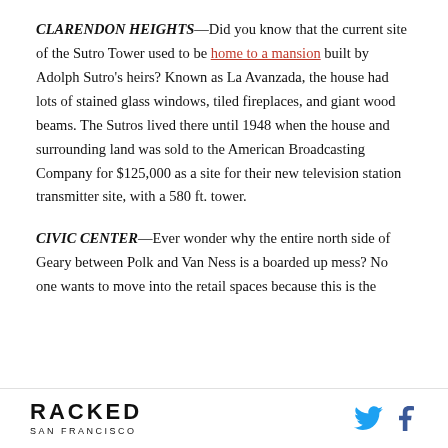CLARENDON HEIGHTS—Did you know that the current site of the Sutro Tower used to be home to a mansion built by Adolph Sutro's heirs? Known as La Avanzada, the house had lots of stained glass windows, tiled fireplaces, and giant wood beams. The Sutros lived there until 1948 when the house and surrounding land was sold to the American Broadcasting Company for $125,000 as a site for their new television station transmitter site, with a 580 ft. tower.
CIVIC CENTER—Ever wonder why the entire north side of Geary between Polk and Van Ness is a boarded up mess? No one wants to move into the retail spaces because this is the
RACKED SAN FRANCISCO